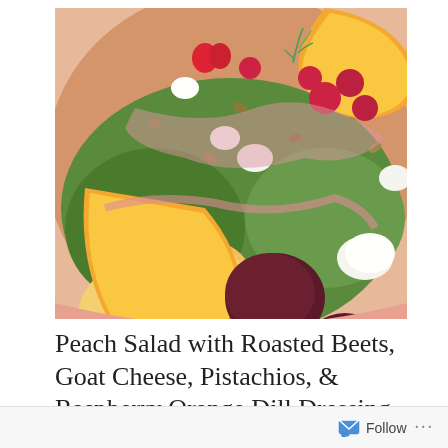[Figure (photo): Close-up photo of a peach salad with roasted beets, crumbled goat cheese, pistachios, and raspberries in a pink bowl, drizzled with raspberry orange dill dressing]
Peach Salad with Roasted Beets, Goat Cheese, Pistachios, & Raspberry Orange Dill Dressing
August 11, 2017